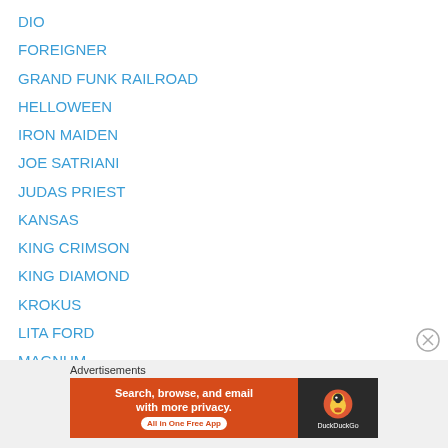DIO
FOREIGNER
GRAND FUNK RAILROAD
HELLOWEEN
IRON MAIDEN
JOE SATRIANI
JUDAS PRIEST
KANSAS
KING CRIMSON
KING DIAMOND
KROKUS
LITA FORD
MAGNUM
MANOWAR
MEAT LOAF
MEGADETH
[Figure (screenshot): DuckDuckGo advertisement banner reading 'Search, browse, and email with more privacy. All in One Free App' with DuckDuckGo logo on dark background]